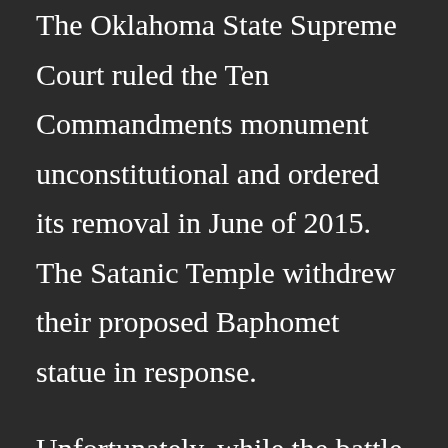The Oklahoma State Supreme Court ruled the Ten Commandments monument unconstitutional and ordered its removal in June of 2015. The Satanic Temple withdrew their proposed Baphomet statue in response.
Unfortunately, while the battle over the Ten Commandments monument in Oklahoma was playing out, Arkansas passed Senate Bill 939 for the exact same thing.
This July, the Satanic Temple unveiled the Baphomet statue in his full glory at a ceremony in an industrial